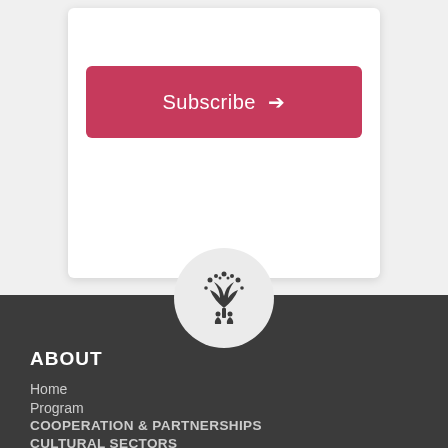[Figure (other): White card with a crimson/rose Subscribe button with arrow on a light gray background]
[Figure (logo): Circular logo with a tree/people icon, dark silhouette on light gray background]
ABOUT
Home
Program
COOPERATION & PARTNERSHIPS
CULTURAL SECTORS